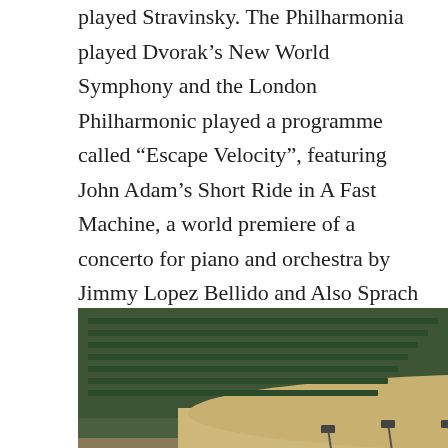played Stravinsky. The Philharmonia played Dvorak's New World Symphony and the London Philharmonic played a programme called “Escape Velocity”, featuring John Adam’s Short Ride in A Fast Machine, a world premiere of a concerto for piano and orchestra by Jimmy Lopez Bellido and Also Sprach Zarathustra by Strauss. All three programmes were wonderful and raised the spirits. I’m not sure I’ve ever heard all of Also Sprach Z, just the bit you get at the beginning of the film 2001. If you’ve not, do go and find it to listen to.
[Figure (photo): Overhead view of an empty concert hall stage with music stands, chairs arranged for an orchestra, wooden paneled walls, and audience seating area visible on the left. A conductor or person stands on stage.]